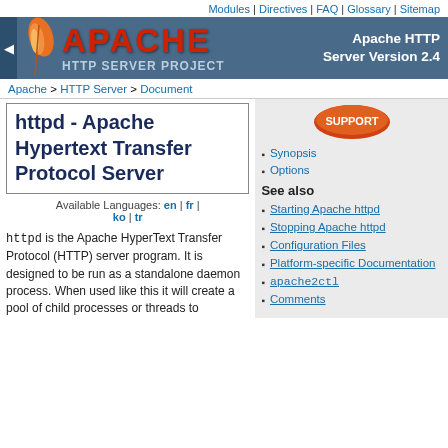Modules | Directives | FAQ | Glossary | Sitemap
[Figure (logo): Apache HTTP Server Project banner with feather logo, red APACHE text, and 'Apache HTTP Server Version 2.4' text on dark blue background]
Apache > HTTP Server > Document
httpd - Apache Hypertext Transfer Protocol Server
Available Languages: en | fr | ko | tr
httpd is the Apache HyperText Transfer Protocol (HTTP) server program. It is designed to be run as a standalone daemon process. When used like this it will create a pool of child processes or threads to
Synopsis
Options
See also
Starting Apache httpd
Stopping Apache httpd
Configuration Files
Platform-specific Documentation
apache2ctl
Comments